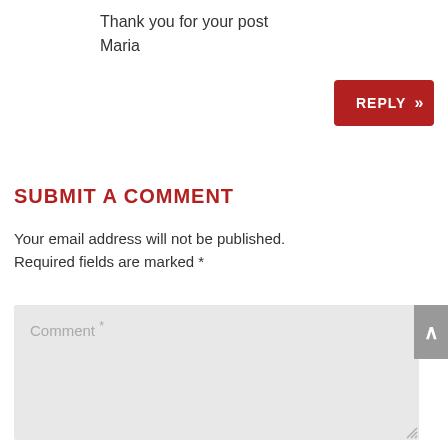Thank you for your post
Maria
[Figure (screenshot): Red REPLY button with double chevron >>]
SUBMIT A COMMENT
Your email address will not be published. Required fields are marked *
[Figure (screenshot): Comment text area input field with placeholder text 'Comment *']